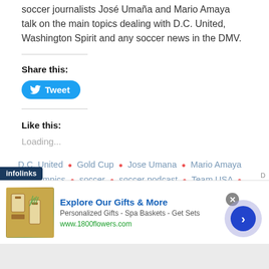soccer journalists José Umaña and Mario Amaya talk on the main topics dealing with D.C. United, Washington Spirit and any soccer news in the DMV.
Share this:
[Figure (other): Twitter Tweet button — blue rounded rectangle with bird icon and 'Tweet' text]
Like this:
Loading...
D.C. United • Gold Cup • Jose Umana • Mario Amaya • Olympics • soccer • soccer podcast • Team USA • The Bad FC Podcast • USMNT • USWNT
[Figure (other): Infolinks branded label bar at bottom left]
[Figure (other): Advertisement banner: 1800flowers.com — Explore Our Gifts & More, Personalized Gifts - Spa Baskets - Get Sets, www.1800flowers.com, with gift product image and navigation arrow]